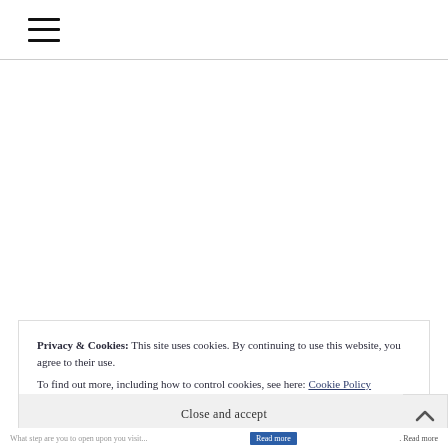≡
Privacy & Cookies: This site uses cookies. By continuing to use this website, you agree to their use.
To find out more, including how to control cookies, see here: Cookie Policy
Close and accept